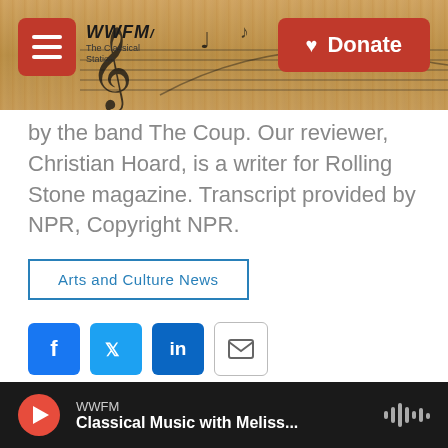WWFM — The Classical Station | Donate
by the band The Coup. Our reviewer, Christian Hoard, is a writer for Rolling Stone magazine. Transcript provided by NPR, Copyright NPR.
Arts and Culture News
[Figure (infographic): Social share buttons: Facebook (blue), Twitter (blue), LinkedIn (blue), Email (outlined)]
Christian Hoard
WWFM | Classical Music with Meliss...